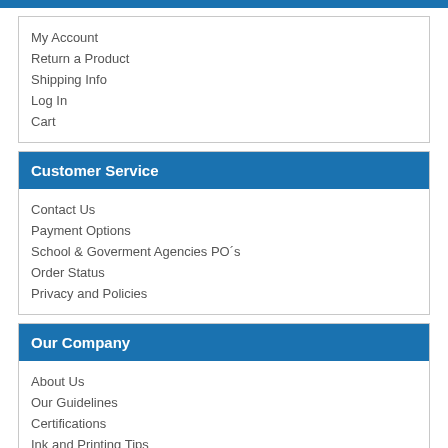My Account
Return a Product
Shipping Info
Log In
Cart
Customer Service
Contact Us
Payment Options
School & Goverment Agencies PO´s
Order Status
Privacy and Policies
Our Company
About Us
Our Guidelines
Certifications
Ink and Printing Tips
We Proudly Accept.